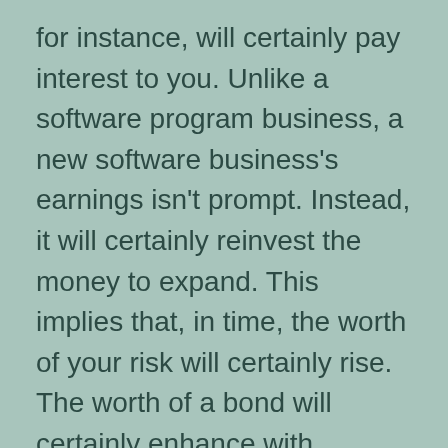for instance, will certainly pay interest to you. Unlike a software program business, a new software business's earnings isn't prompt. Instead, it will certainly reinvest the money to expand. This implies that, in time, the worth of your risk will certainly rise. The worth of a bond will certainly enhance with inflation.
Investment is the devotion of a property to gain in value gradually. It typically involves giving up something of value in the here and now, such as time, money, or initiative. There are a selection of methods to invest. These methods are clarified below. There are numerous sorts